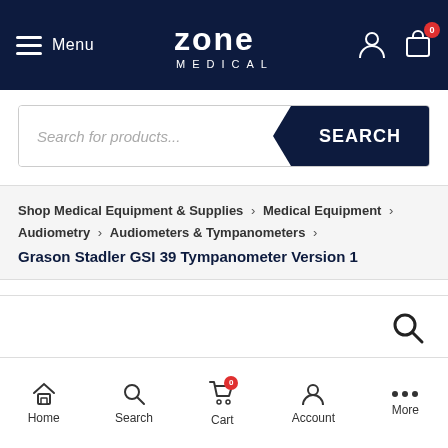[Figure (screenshot): Zone Medical website header with navigation bar (dark navy background), Zone Medical logo in center, hamburger menu and Menu text on left, user account icon and shopping bag icon with 0 badge on right]
[Figure (screenshot): Search bar with placeholder text 'Search for products...' and dark navy SEARCH button]
Shop Medical Equipment & Supplies > Medical Equipment > Audiometry > Audiometers & Tympanometers > Grason Stadler GSI 39 Tympanometer Version 1
[Figure (screenshot): Product image area (white background with search icon visible in upper right corner)]
[Figure (screenshot): Bottom navigation bar with Home, Search, Cart (with 0 badge), Account, More icons]